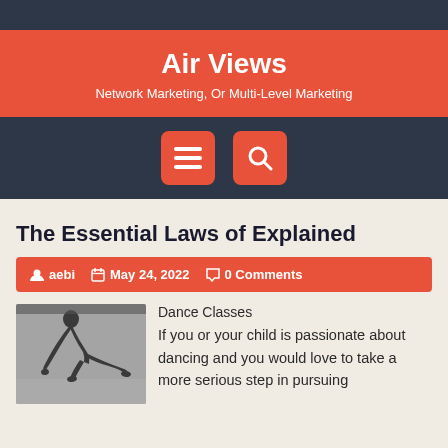Air Views
Network Marketing, Or Multi-Level Marketing
[Figure (other): Navigation bar with hamburger menu button and search button on dark background]
The Essential Laws of Explained
aebi  May 24, 2022  0 Comments
[Figure (photo): Black and white photo of a dancer's leg and foot in a dramatic low pose on a dance floor]
Dance Classes
If you or your child is passionate about dancing and you would love to take a more serious step in pursuing